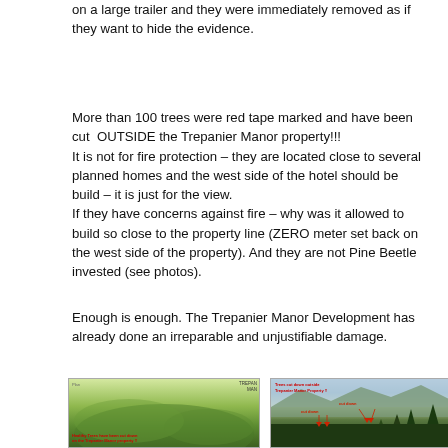on a large trailer and they were immediately removed as if they want to hide the evidence.
More than 100 trees were red tape marked and have been cut OUTSIDE the Trepanier Manor property!!! It is not for fire protection – they are located close to several planned homes and the west side of the hotel should be build – it is just for the view. If they have concerns against fire – why was it allowed to build so close to the property line (ZERO meter set back on the west side of the property). And they are not Pine Beetle invested (see photos).
Enough is enough. The Trepanier Manor Development has already done an irreparable and unjustifiable damage.
[Figure (photo): Aerial/plan view map of Trepanier Manor property showing green terrain with red annotation text 'Healthy Trees have been cut down on the Trepanier Manor property !!']
[Figure (photo): Photograph of forest/mountain landscape with red annotation text 'Trees cut down outside Trepanier Manor Property !!' and red arrows and labels indicating 'cut down' locations]